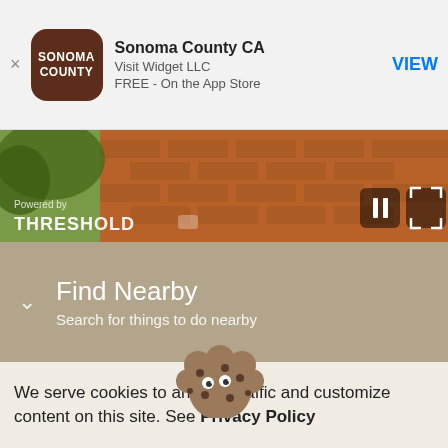[Figure (screenshot): App store banner for Sonoma County CA by Visit Widget LLC, FREE on the App Store, with VIEW button]
Sonoma County CA
Visit Widget LLC
FREE - On the App Store
VIEW
[Figure (photo): Video strip showing brick pathway and green foliage, with THRESHOLD text overlay and pause/fullscreen controls. Powered by label visible.]
Find Nearby
Search for things to do nearby
[Figure (map): Map showing area with Macy's, County Brewing Company, Ca'Bianca restaurant, United States Postal Service, and ak & Seafood labels]
[Figure (illustration): Cookie monster / cookie character illustration]
We serve cookies to analyze traffic and customize content on this site. See Privacy Policy